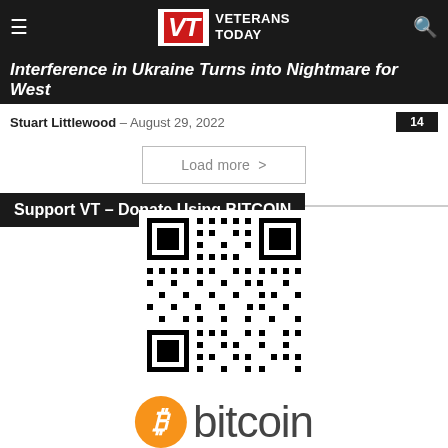VT Veterans Today
Interference in Ukraine Turns into Nightmare for West
Stuart Littlewood – August 29, 2022   14
Load more >
Support VT – Donate Using BITCOIN
[Figure (other): Bitcoin QR code for donations]
[Figure (logo): Bitcoin logo with orange circle containing B symbol and 'bitcoin' text in grey]